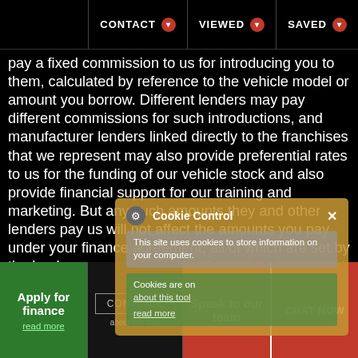CONTACT  VIEWED  SAVED
pay a fixed commission to us for introducing you to them, calculated by reference to the vehicle model or amount you borrow. Different lenders may pay different commissions for such introductions, and manufacturer lenders linked directly to the franchises that we represent may also provide preferential rates to us for the funding of our vehicle stock and also provide financial support for our training and marketing. But any such amounts they and other lenders pay us will not affect the amounts you pay under your finance agreement, all of which are set by the lender concerned. If you ask us what the amount of commission is, we will tell you in good time before the Finance agreement is executed. All finance applications are subject to status, terms and conditions apply. UK residents only, 18's or over. Guarantees may be required.
Regulated Complaints Post: Automotive Compliance Ltd, The
[Figure (screenshot): Cookie Control overlay dialog with gear icon, title 'Cookie Control', close button, gray box with text 'This site uses cookies to store information on your computer.', and green section 'Cookies are on' with 'about this tool' and 'read more' links, plus a CONTINUE button.]
Apply for finance  read more  CONTINUE  Speak to our team  CHAT NOW